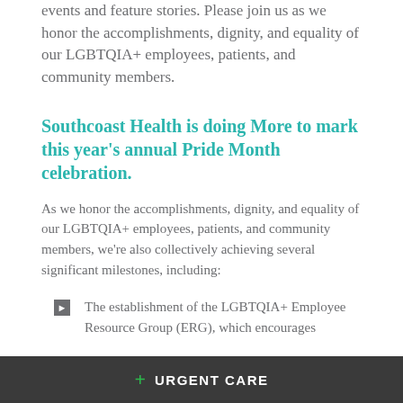events and feature stories. Please join us as we honor the accomplishments, dignity, and equality of our LGBTQIA+ employees, patients, and community members.
Southcoast Health is doing More to mark this year's annual Pride Month celebration.
As we honor the accomplishments, dignity, and equality of our LGBTQIA+ employees, patients, and community members, we're also collectively achieving several significant milestones, including:
The establishment of the LGBTQIA+ Employee Resource Group (ERG), which encourages
+ URGENT CARE